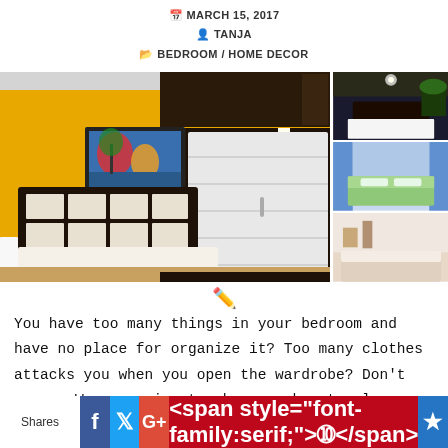MARCH 15, 2017 | TANJA | BEDROOM / HOME DECOR
[Figure (photo): Collage of bedroom interior photos: main large image showing a bedroom with yellow wall, dark wood wardrobe with white panels, and a bed with grid headboard; three smaller images on the right showing various bedroom interiors]
You have too many things in your bedroom and have no place for organize it? Too many clothes attacks you when you open the wardrobe? Don't worry. We are going to show you how to clean your bedroom and organize
Shares | Facebook | Twitter | Google+ | Pinterest | Crown